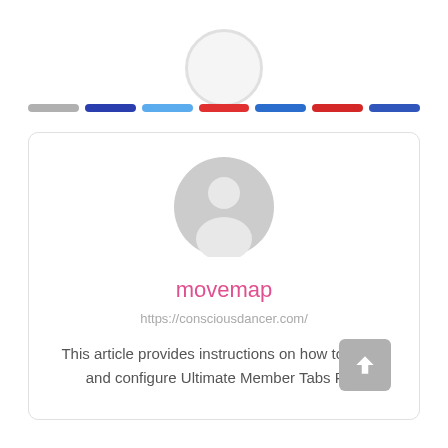[Figure (illustration): Partial circular avatar outline at top of page, mostly cropped, with decorative colored horizontal bar segments below it]
[Figure (illustration): Generic user avatar icon (gray circle with person silhouette) inside a white card with rounded corners]
movemap
https://consciousdancer.com/
This article provides instructions on how to install and configure Ultimate Member Tabs Pro.